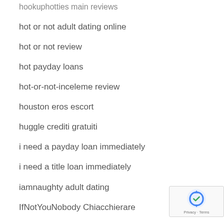hookuphotties main reviews
hot or not adult dating online
hot or not review
hot payday loans
hot-or-not-inceleme review
houston eros escort
huggle crediti gratuiti
i need a payday loan immediately
i need a title loan immediately
iamnaughty adult dating
IfNotYouNobody Chiacchierare
il USA review